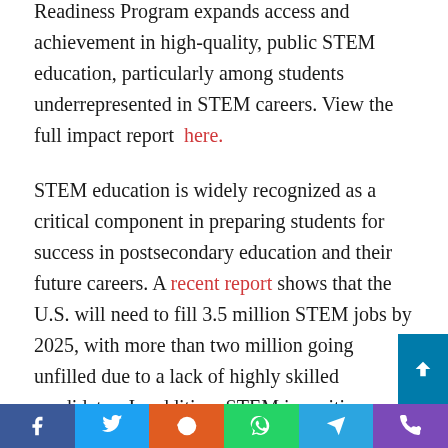Readiness Program expands access and achievement in high-quality, public STEM education, particularly among students underrepresented in STEM careers. View the full impact report here.
STEM education is widely recognized as a critical component in preparing students for success in postsecondary education and their future careers. A recent report shows that the U.S. will need to fill 3.5 million STEM jobs by 2025, with more than two million going unfilled due to a lack of highly skilled candidates. In addition, STEM inequities disproportionately affect young people of color, rural kids, kids in poverty, and girls. NMSI's College Readiness Program is working to close the STEM gap for all students.